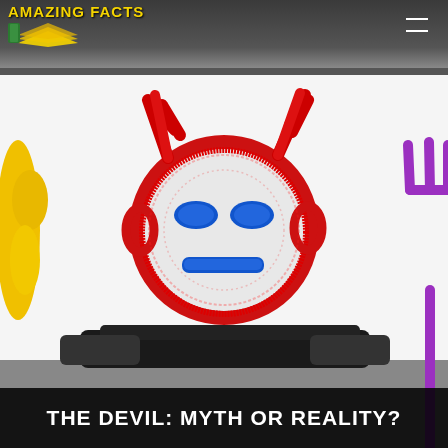AMAZING FACTS
[Figure (illustration): Child's crayon drawing of a devil figure: red circular head with horns, blue eyes and mouth, black crayon body/arms. Yellow shape on left edge, purple pitchfork on right edge. White background with gray gradient at top and bottom.]
THE DEVIL: MYTH OR REALITY?